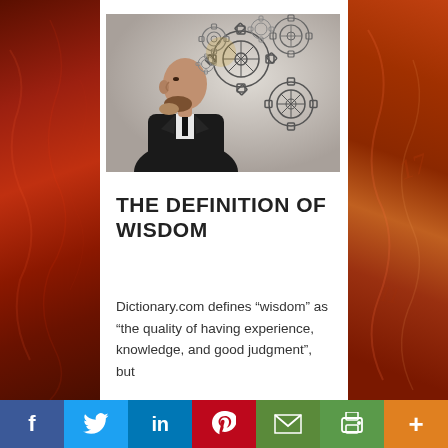[Figure (illustration): Man in suit in profile view, thinking with hand on chin, gears emerging from his head representing thought and wisdom, on a gray background]
THE DEFINITION OF WISDOM
Dictionary.com defines “wisdom” as “the quality of having experience, knowledge, and good judgment”, but